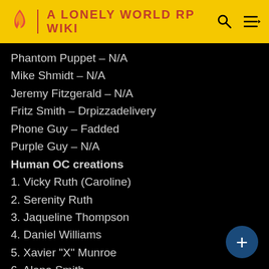A LONELY WORLD RP WIKI
Phantom Puppet – N/A
Mike Shmidt – N/A
Jeremy Fitzgerald – N/A
Fritz Smith – Drpizzadelivery
Phone Guy – Fadded
Purple Guy – N/A
Human OC creations
1. Vicky Ruth (Caroline)
2. Serenity Ruth
3. Jaqueline Thompson
4. Daniel Williams
5. Xavier "X" Munroe
6. Alana Smith
7. Ryan Jameson
8. Mike